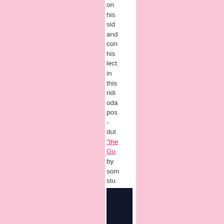on his side and con his lect in this ridi oda pos - dut "the Gu by som stu
[Figure (photo): A dark photograph partially visible at the bottom of the narrow white column]